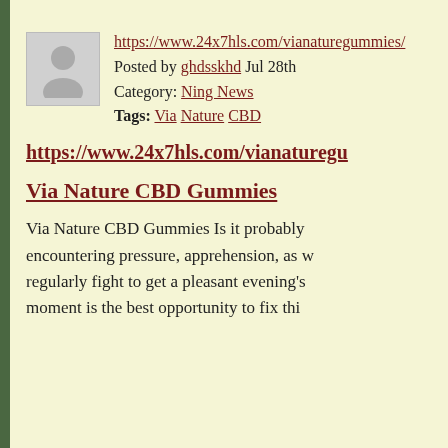https://www.24x7hls.com/vianaturegummies/ Posted by ghdsskhd Jul 28th Category: Ning News Tags: Via Nature CBD
https://www.24x7hls.com/vianaturegu...
Via Nature CBD Gummies
Via Nature CBD Gummies Is it probably encountering pressure, apprehension, as w regularly fight to get a pleasant evening's moment is the best opportunity to fix thi...